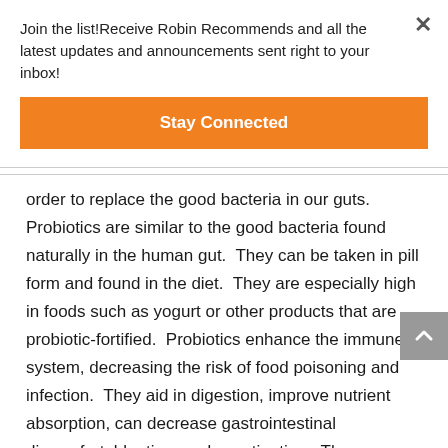Join the list!Receive Robin Recommends and all the latest updates and announcements sent right to your inbox!
Stay Connected
order to replace the good bacteria in our guts. Probiotics are similar to the good bacteria found naturally in the human gut.  They can be taken in pill form and found in the diet.  They are especially high in foods such as yogurt or other products that are probiotic-fortified.  Probiotics enhance the immune system, decreasing the risk of food poisoning and infection.  They aid in digestion, improve nutrient absorption, can decrease gastrointestinal discomfort, bloating, and constipation.  They may help with weight loss, and